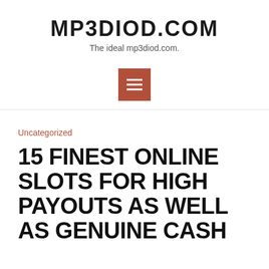MP3DIOD.COM
The ideal mp3diod.com.
[Figure (other): Hamburger menu button icon — brown/terracotta square with three horizontal white lines]
Uncategorized
15 FINEST ONLINE SLOTS FOR HIGH PAYOUTS AS WELL AS GENUINE CASH